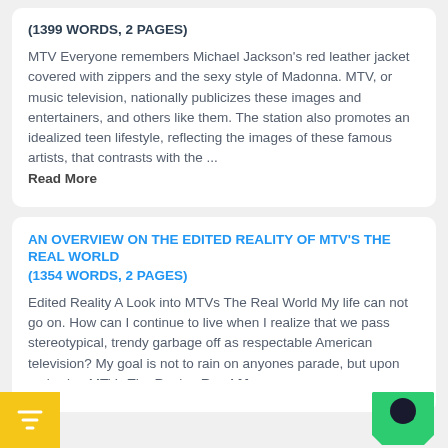(1399 WORDS, 2 PAGES)
MTV Everyone remembers Michael Jackson's red leather jacket covered with zippers and the sexy style of Madonna. MTV, or music television, nationally publicizes these images and entertainers, and others like them. The station also promotes an idealized teen lifestyle, reflecting the images of these famous artists, that contrasts with the ... Read More
AN OVERVIEW ON THE EDITED REALITY OF MTV'S THE REAL WORLD
(1354 WORDS, 2 PAGES)
Edited Reality A Look into MTVs The Real World My life can not go on. How can I continue to live when I realize that we pass stereotypical, trendy garbage off as respectable American television? My goal is not to rain on anyones parade, but upon reviewing MTVs The Real ... Read Mo